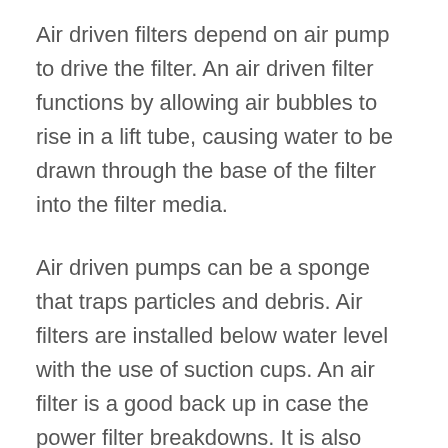Air driven filters depend on air pump to drive the filter. An air driven filter functions by allowing air bubbles to rise in a lift tube, causing water to be drawn through the base of the filter into the filter media.
Air driven pumps can be a sponge that traps particles and debris. Air filters are installed below water level with the use of suction cups. An air filter is a good back up in case the power filter breakdowns. It is also efficient for very small tanks that cannot handle the flow rate created by power filters.